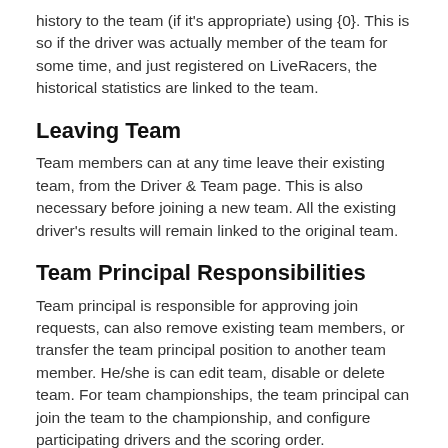history to the team (if it's appropriate) using {0}. This is so if the driver was actually member of the team for some time, and just registered on LiveRacers, the historical statistics are linked to the team.
Leaving Team
Team members can at any time leave their existing team, from the Driver & Team page. This is also necessary before joining a new team. All the existing driver's results will remain linked to the original team.
Team Principal Responsibilities
Team principal is responsible for approving join requests, can also remove existing team members, or transfer the team principal position to another team member. He/she is can edit team, disable or delete team. For team championships, the team principal can join the team to the championship, and configure participating drivers and the scoring order.
Disabling and Deleting Team